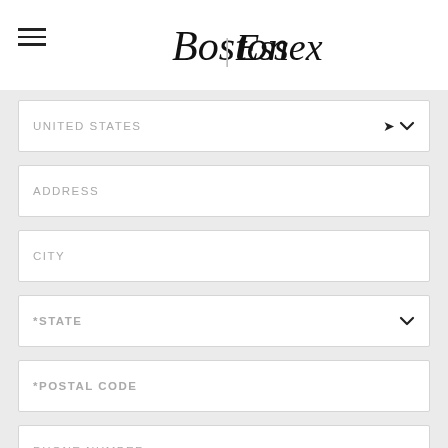[Figure (logo): Boston Essex logo with hamburger menu icon on the left]
UNITED STATES
ADDRESS
CITY
*STATE
*POSTAL CODE
PHONE NUMBER
COMMENTS